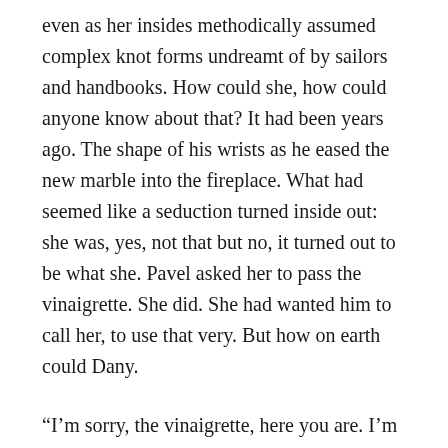even as her insides methodically assumed complex knot forms undreamt of by sailors and handbooks. How could she, how could anyone know about that? It had been years ago. The shape of his wrists as he eased the new marble into the fireplace. What had seemed like a seduction turned inside out: she was, yes, not that but no, it turned out to be what she. Pavel asked her to pass the vinaigrette. She did. She had wanted him to call her, to use that very. But how on earth could Dany.
“I’m sorry, the vinaigrette, here you are. I’m sorry, it’s just been a very trying day at the office and I.”